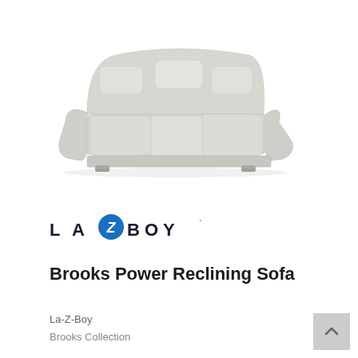[Figure (photo): A light grey/cream colored La-Z-Boy Brooks Power Reclining Sofa shown in three-quarter view on a white background. The sofa has three seats with padded headrests and armrests.]
[Figure (logo): La-Z-Boy logo with stylized 'Z' in a blue circle between 'LA' and 'BOY' in spaced capital letters]
Brooks Power Reclining Sofa
La-Z-Boy
Brooks Collection